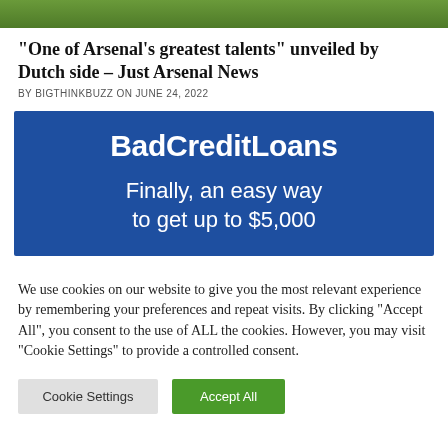[Figure (photo): Green grass/turf banner image at the top of the page]
“One of Arsenal’s greatest talents” unveiled by Dutch side – Just Arsenal News
BY BIGTHINKBUZZ ON JUNE 24, 2022
[Figure (infographic): BadCreditLoans advertisement banner with dark blue background. Text: BadCreditLoans - Finally, an easy way to get up to $5,000]
We use cookies on our website to give you the most relevant experience by remembering your preferences and repeat visits. By clicking “Accept All”, you consent to the use of ALL the cookies. However, you may visit “Cookie Settings” to provide a controlled consent.